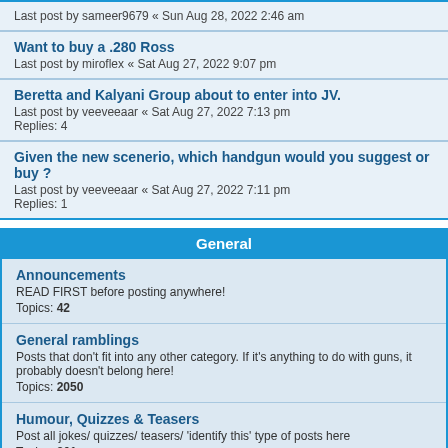Last post by sameer9679 « Sun Aug 28, 2022 2:46 am
Want to buy a .280 Ross
Last post by miroflex « Sat Aug 27, 2022 9:07 pm
Beretta and Kalyani Group about to enter into JV.
Last post by veeveeaar « Sat Aug 27, 2022 7:13 pm
Replies: 4
Given the new scenerio, which handgun would you suggest or buy ?
Last post by veeveeaar « Sat Aug 27, 2022 7:11 pm
Replies: 1
General
Announcements
READ FIRST before posting anywhere!
Topics: 42
General ramblings
Posts that don't fit into any other category. If it's anything to do with guns, it probably doesn't belong here!
Topics: 2050
Humour, Quizzes & Teasers
Post all jokes/ quizzes/ teasers/ 'identify this' type of posts here
Topics: 861
Politics/ Legal
RKBA